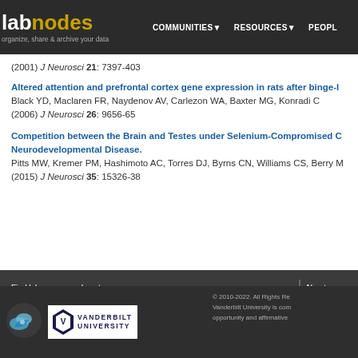labnodes – organize, share & archive your data | COMMUNITIES | RESOURCES | PEOPLE
(2001) J Neurosci 21: 7397-403
Altered attention and prefrontal cortex gene expression in rats after binge-
Black YD, Maclaren FR, Naydenov AV, Carlezon WA, Baxter MG, Konradi C
(2006) J Neurosci 26: 9656-65
Competition between the Brain and Testes under Selenium-Compromised C Neurodevelopmental Disease.
Pitts MW, Kremer PM, Hashimoto AC, Torres DJ, Byrns CN, Williams CS, Berry M
(2015) J Neurosci 35: 15326-38
Find labs, cores and centers | Find and connect with people | Find reagents and information | About Labnodes | Branding & Marketing | Create an account | Login | © 2010-2022. All Rights Reserved. Vanderbilt University is committed to equal opportunity and affirmative